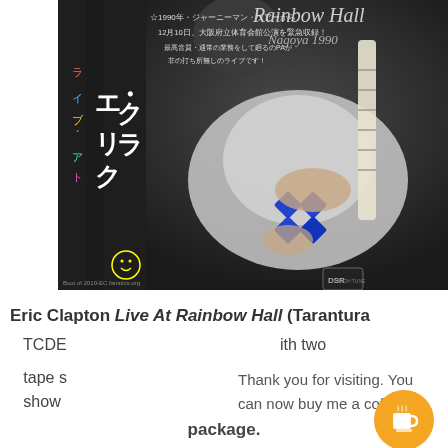[Figure (photo): Album cover for Eric Clapton Live At Rainbow Hall, showing a guitarist playing a white electric guitar with blue decorations on a dark background. Japanese text on the left side. 'Rainbow Hall Nagoya 1990' text in the upper right.]
Eric Clapton Live At Rainbow Hall (Tarantura
TCDE                                                    ith two
tape s    Thank you for visiting. You       th,
show      can now buy me a coffee!          's
package.